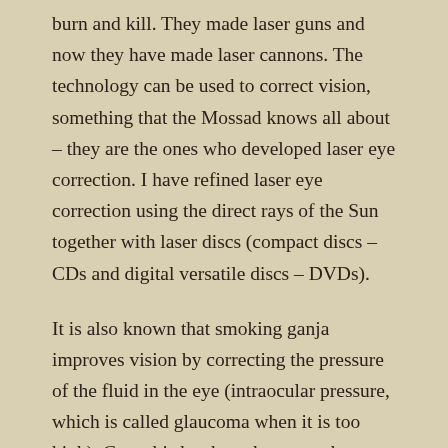burn and kill. They made laser guns and now they have made laser cannons. The technology can be used to correct vision, something that the Mossad knows all about – they are the ones who developed laser eye correction. I have refined laser eye correction using the direct rays of the Sun together with laser discs (compact discs – CDs and digital versatile discs – DVDs).
It is also known that smoking ganja improves vision by correcting the pressure of the fluid in the eye (intraocular pressure, which is called glaucoma when it is too high). Cannabis has been known to be an effective treatment for glaucoma for a long time. It is also known to divers and underwater photographers that ultraviolet light is essential for seeing the full spectrum of Nature's